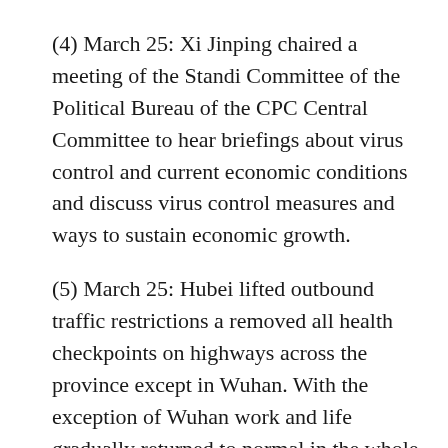(4) March 25: Xi Jinping chaired a meeting of the Standing Committee of the Political Bureau of the CPC Central Committee to hear briefings about virus control and current economic conditions and discuss virus control measures and ways to sustain economic growth.
(5) March 25: Hubei lifted outbound traffic restrictions and removed all health checkpoints on highways across the province except in Wuhan. With the exception of Wuhan, work and life gradually returned to normal in the whole province, and people could now leave Hubei if they had "green" health code to show that they were not infected.
(6) March 25: Confirmed inbound cases were reported in 23 provinces, signaling the need to curb the spread of the virus.
(7) March 26: President Xi attended the G20 Extraordinary